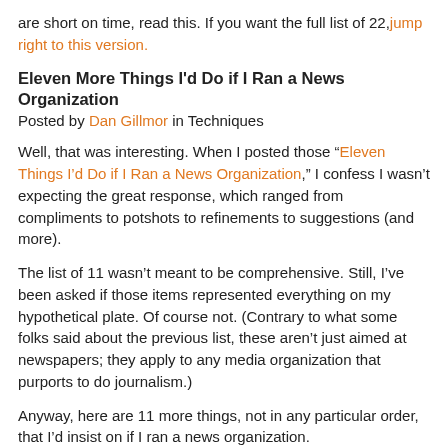are short on time, read this. If you want the full list of 22, jump right to this version.
Eleven More Things I'd Do if I Ran a News Organization
Posted by Dan Gillmor in Techniques
Well, that was interesting. When I posted those “Eleven Things I’d Do if I Ran a News Organization,” I confess I wasn’t expecting the great response, which ranged from compliments to potshots to refinements to suggestions (and more).
The list of 11 wasn’t meant to be comprehensive. Still, I’ve been asked if those items represented everything on my hypothetical plate. Of course not. (Contrary to what some folks said about the previous list, these aren’t just aimed at newspapers; they apply to any media organization that purports to do journalism.)
Anyway, here are 11 more things, not in any particular order, that I’d insist on if I ran a news organization.